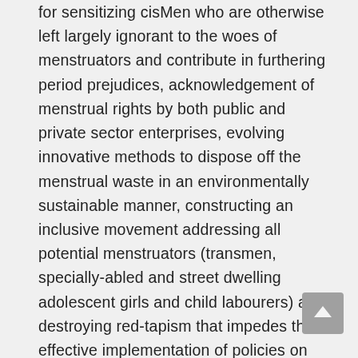for sensitizing cisMen who are otherwise left largely ignorant to the woes of menstruators and contribute in furthering period prejudices, acknowledgement of menstrual rights by both public and private sector enterprises, evolving innovative methods to dispose off the menstrual waste in an environmentally sustainable manner, constructing an inclusive movement addressing all potential menstruators (transmen, specially-abled and street dwelling adolescent girls and child labourers) and destroying red-tapism that impedes the effective implementation of policies on the ground. Until the aforementioned loopholes are addressed, even discarding menstrual